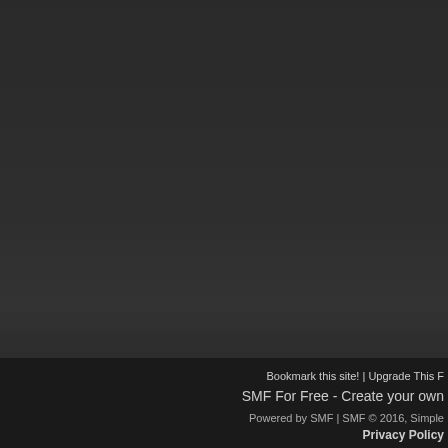Bookmark this site! | Upgrade This F
SMF For Free - Create your own
Powered by SMF | SMF © 2016, Simple
Privacy Policy